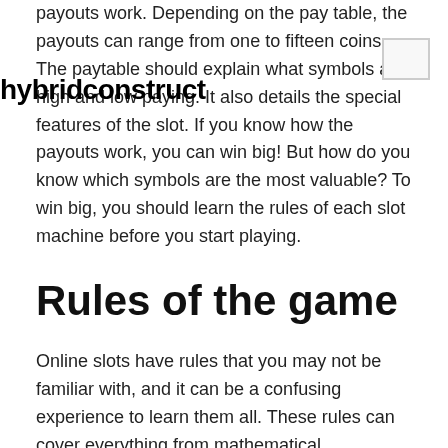hybridconstruct
payouts work. Depending on the pay table, the payouts can range from one to fifteen coins. The paytable should explain what symbols are high and low paying. It also details the special features of the slot. If you know how the payouts work, you can win big! But how do you know which symbols are the most valuable? To win big, you should learn the rules of each slot machine before you start playing.
Rules of the game
Online slots have rules that you may not be familiar with, and it can be a confusing experience to learn them all. These rules can cover everything from mathematical calculations to algorithms and legal limits. Here is an overview to help you better understand these games. Once you know the basics you can enjoy playing slots without any difficulty! Th...